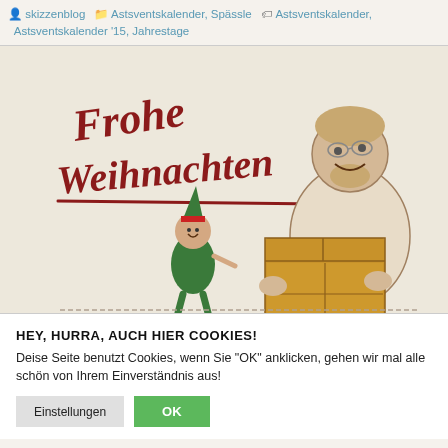skizzenblog  Astsventskalender, Spässle  Astsventskalender, Astsventskalender '15, Jahrestage
[Figure (illustration): Christmas illustration with 'Frohe Weihnachten' in red hand-lettered script. A tall man in sketch style holds a large brown cardboard box, facing a small elf wearing a green hat with a red band.]
HEY, HURRA, AUCH HIER COOKIES!
Deise Seite benutzt Cookies, wenn Sie "OK" anklicken, gehen wir mal alle schön von Ihrem Einverständnis aus!